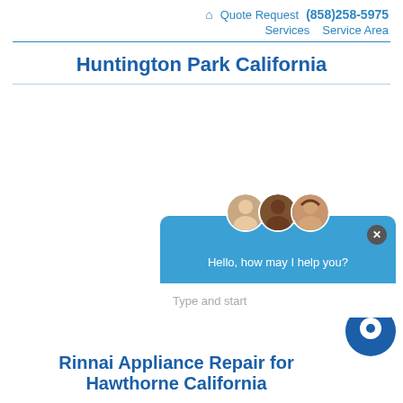🏠 Quote Request (858)258-5975 Services Service Area
Huntington Park California
[Figure (screenshot): Live chat widget popup with three agent avatars (two men and one woman), blue background, greeting text 'Hello, how may I help you?', and a text input area with placeholder 'Type and start'. A dark close button (×) is in the top right corner.]
Rinnai Appliance Repair for Hawthorne California